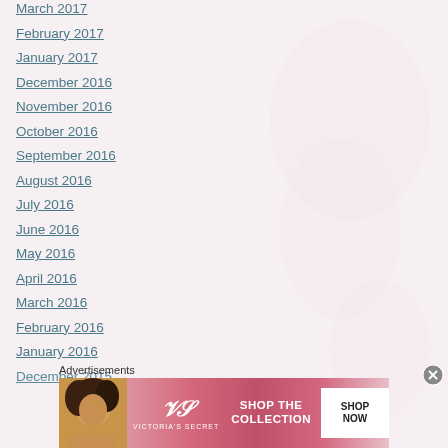March 2017
February 2017
January 2017
December 2016
November 2016
October 2016
September 2016
August 2016
July 2016
June 2016
May 2016
April 2016
March 2016
February 2016
January 2016
December 2015
Advertisements
[Figure (photo): Victoria's Secret advertisement banner with model, VS logo, 'SHOP THE COLLECTION' text and 'SHOP NOW' button]